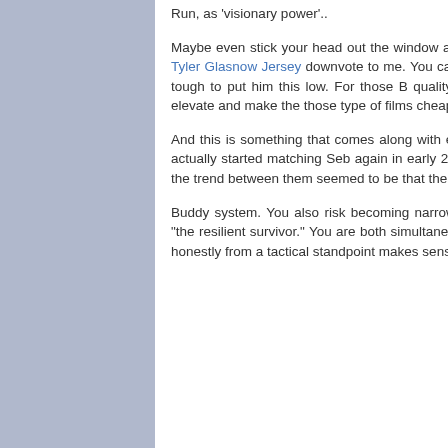Run, as 'visionary power'...
Maybe even stick your head out the window and feel the breeze while you reflect on the importance of your Tyler Glasnow Jersey downvote to me. You can't have a top 10 list without Ice Cube, and once again, it was tough to put him this low. For those B quality action films feel free to do the first viewing in 4DX, it helps elevate and make the those type of films cheap baskball jerseys more fun to watch..
And this is something that comes along with experience and knowledge of what happening around you. He actually started matching Seb again in early 2012 after the regulation change to the diffusers after 2011, but the trend between them seemed to be that the more they increased the rear downforce, the stronger Seb got.
Buddy system. You also risk becoming narrowly defined not only as "the woman who was raped" but also "the resilient survivor." You are both simultaneously what happened to you and recovered from it, too. Which honestly from a tactical standpoint makes sense.